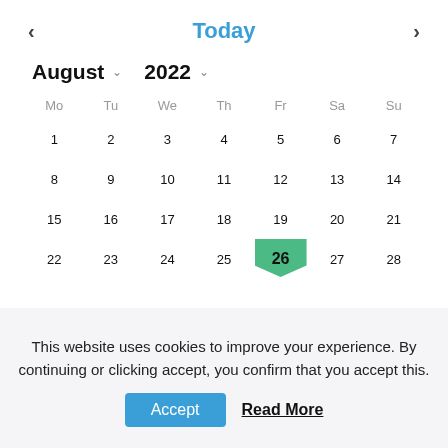[Figure (screenshot): Calendar widget showing August 2022, with navigation arrows and 'Today' link. The 26th is highlighted with a green pennant shape. Days Mo through Su are shown with dates 1-28 visible.]
This website uses cookies to improve your experience. By continuing or clicking accept, you confirm that you accept this.
Accept
Read More